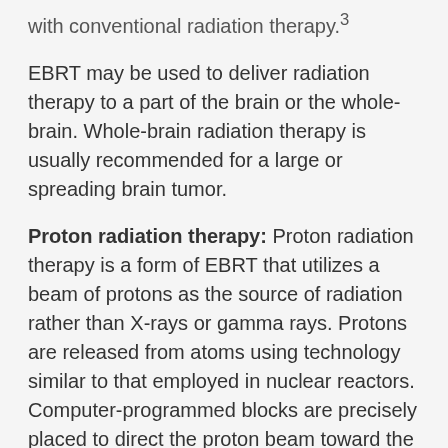with conventional radiation therapy.3
EBRT may be used to deliver radiation therapy to a part of the brain or the whole-brain. Whole-brain radiation therapy is usually recommended for a large or spreading brain tumor.
Proton radiation therapy: Proton radiation therapy is a form of EBRT that utilizes a beam of protons as the source of radiation rather than X-rays or gamma rays. Protons are released from atoms using technology similar to that employed in nuclear reactors. Computer-programmed blocks are precisely placed to direct the proton beam toward the tumor and match it to the shape of the tumor.
As a source of radiation, proton beams offer some advantages. In particular, a proton beam delivers a